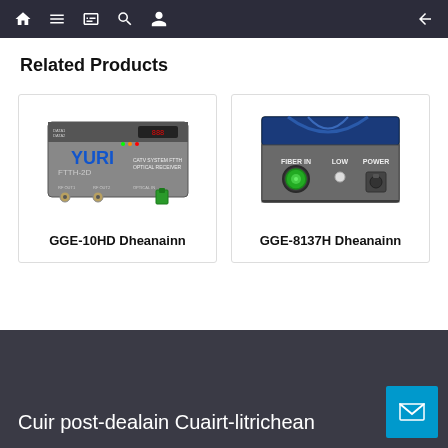Navigation bar with home, menu, book, search, profile icons and back arrow
Related Products
[Figure (photo): YURI FTTH-2D CATV SYSTEM FTTH OPTICAL RECEIVER device photo]
GGE-10HD Dheanainn
[Figure (photo): Optical receiver device with FIBER IN, LOW, and POWER labels and green connector]
GGE-8137H Dheanainn
Cuir post-dealain Cuairt-litrichean